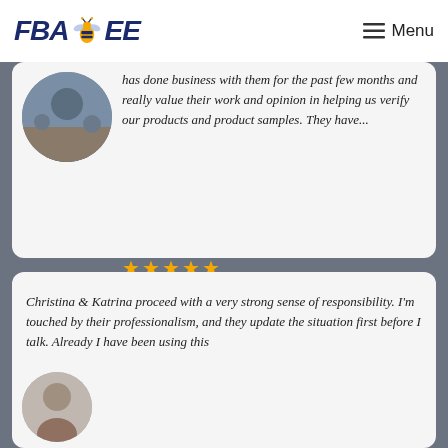[Figure (logo): FBA BEE logo with bee icon and Menu button]
has done business with them for the past few months and really value their work and opinion in helping us verify our products and product samples. They have...
★★★★★
Vishnu Prashanth- United States
Christina & Katrina proceed with a very strong sense of responsibility. I'm touched by their professionalism, and they update the situation first before I talk. Already I have been using this